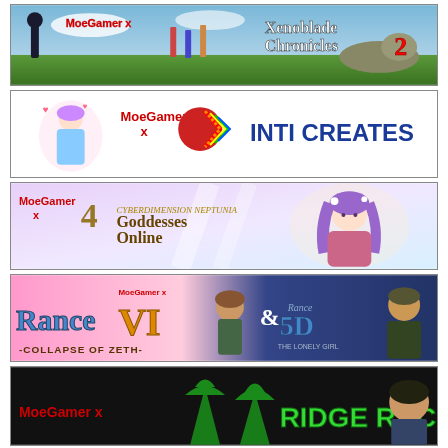[Figure (illustration): MoeGamer x Xenoblade Chronicles 2 banner with game characters on grass landscape]
[Figure (illustration): MoeGamer x Inti Creates banner with anime character and Inti Creates logo]
[Figure (illustration): MoeGamer x 4 Goddesses Online banner with anime girl character]
[Figure (illustration): MoeGamer x Rance VI Collapse of Zeth and Rance 5D The Lonely Girl banner]
[Figure (illustration): MoeGamer x Ridge Racer banner with dark background and green palm trees]